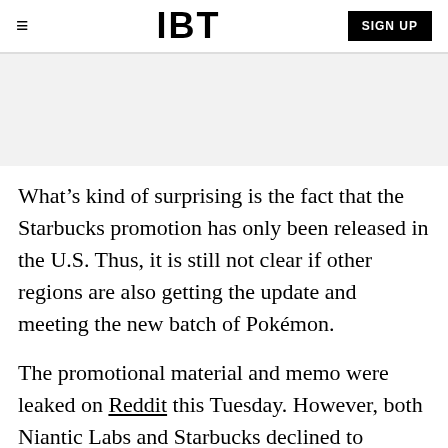IBT | SIGN UP
[Figure (other): Gray advertisement banner area]
What’s kind of surprising is the fact that the Starbucks promotion has only been released in the U.S. Thus, it is still not clear if other regions are also getting the update and meeting the new batch of Pokémon.
The promotional material and memo were leaked on Reddit this Tuesday. However, both Niantic Labs and Starbucks declined to confirm this leak